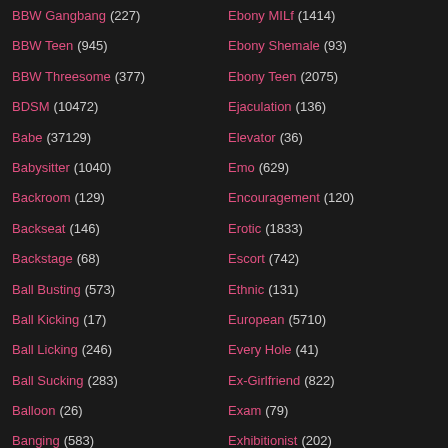BBW Gangbang (227)
BBW Teen (945)
BBW Threesome (377)
BDSM (10472)
Babe (37129)
Babysitter (1040)
Backroom (129)
Backseat (146)
Backstage (68)
Ball Busting (573)
Ball Kicking (17)
Ball Licking (246)
Ball Sucking (283)
Balloon (26)
Banging (583)
Bar (250)
Ebony MILf (1414)
Ebony Shemale (93)
Ebony Teen (2075)
Ejaculation (136)
Elevator (36)
Emo (629)
Encouragement (120)
Erotic (1833)
Escort (742)
Ethnic (131)
European (5710)
Every Hole (41)
Ex-Girlfriend (822)
Exam (79)
Exhibitionist (202)
Exotic (617)